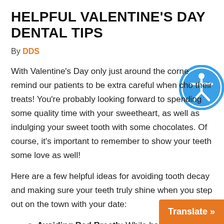HELPFUL VALENTINE'S DAY DENTAL TIPS
By DDS
With Valentine's Day only just around the corner, remind our patients to be extra careful when choosing their treats! You're probably looking forward to spending some quality time with your sweetheart, as well as indulging your sweet tooth with some chocolates. Of course, it's important to remember to show your teeth some love as well!
Here are a few helpful ideas for avoiding tooth decay and making sure your teeth truly shine when you step out on the town with your date:
Avoiding Bad Breath: While bad breath can be a common symptom of a great me...
[Figure (illustration): Blue circular accessibility icon with stylized person figure in the center, white and blue colors]
Translate »